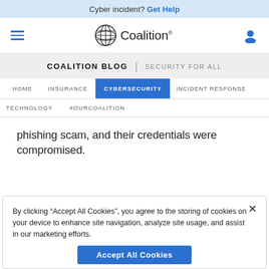Cyber incident? Get Help
[Figure (logo): Coalition logo with globe icon and wordmark]
COALITION BLOG | SECURITY FOR ALL
HOME  INSURANCE  CYBERSECURITY  INCIDENT RESPONSE  TECHNOLOGY  #OURCOALITION
phishing scam, and their credentials were compromised.
By clicking "Accept All Cookies", you agree to the storing of cookies on your device to enhance site navigation, analyze site usage, and assist in our marketing efforts.
Accept All Cookies